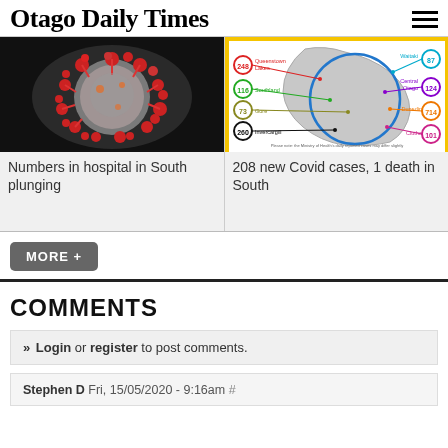Otago Daily Times
[Figure (photo): Microscopic image of a coronavirus particle with red spiky proteins on a dark background]
Numbers in hospital in South plunging
[Figure (infographic): Map of South Island New Zealand showing Covid case numbers by region: Queenstown Lakes 248, Southland 116, Gore 73, Invercargill 260, Waitaki 87, Central Otago 124, Dunedin 714, Clutha 101. Unknown: TA Across: +2]
208 new Covid cases, 1 death in South
MORE +
COMMENTS
» Login or register to post comments.
Stephen D Fri, 15/05/2020 - 9:16am #